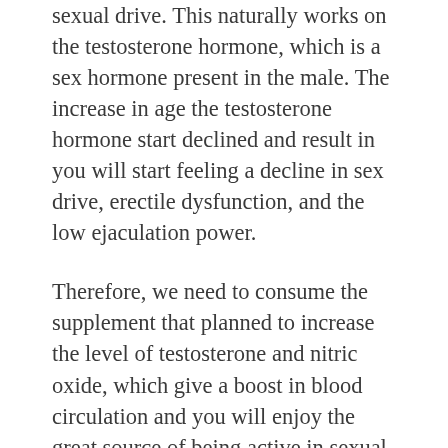sexual drive. This naturally works on the testosterone hormone, which is a sex hormone present in the male. The increase in age the testosterone hormone start declined and result in you will start feeling a decline in sex drive, erectile dysfunction, and the low ejaculation power.
Therefore, we need to consume the supplement that planned to increase the level of testosterone and nitric oxide, which give a boost in blood circulation and you will enjoy the great source of being active in sexual intercourse. The supplement will give you a natural blend of ingredients that exclusively improve erectile dysfunction, and boost your sexual confidence. Moreover, it will work inside the body as a natural mood booster. So, get started with it today!